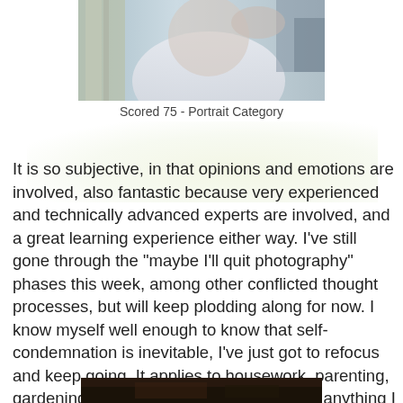[Figure (photo): Partial photo of a person in a white top, cropped, beach or outdoor setting visible in background. Only upper portion shown.]
Scored 75 - Portrait Category
It is so subjective, in that opinions and emotions are involved, also fantastic because very experienced and technically advanced experts are involved, and a great learning experience either way. I've still gone through the "maybe I'll quit photography" phases this week, among other conflicted thought processes, but will keep plodding along for now. I know myself well enough to know that self-condemnation is inevitable, I've just got to refocus and keep going. It applies to housework, parenting, gardening, scrapbooking and pretty much anything I get my hands on, LOL, so it's part of the process. Process of living? Dreaming, perhaps? Anyway.
[Figure (photo): Bottom portion of another photo, dark/dimly lit scene, partial view only.]